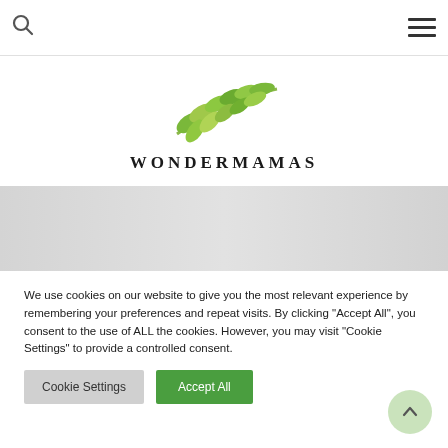[Figure (logo): Wondermamas leaf logo with green leaf branch illustration and text WONDERMAMAS below]
[Figure (photo): Faded hero background image area]
We use cookies on our website to give you the most relevant experience by remembering your preferences and repeat visits. By clicking "Accept All", you consent to the use of ALL the cookies. However, you may visit "Cookie Settings" to provide a controlled consent.
Cookie Settings
Accept All